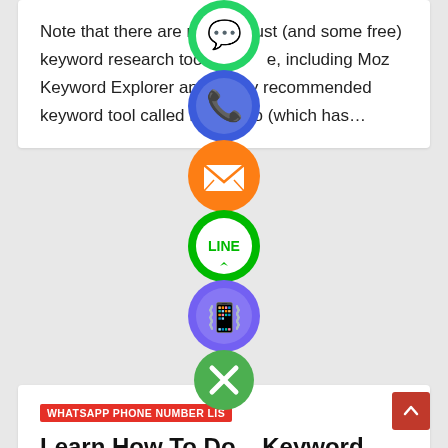Note that there are more robust (and some free) keyword research tools available, including Moz Keyword Explorer and a highly recommended keyword tool called Long Tail Pro (which has…
[Figure (infographic): Vertical stack of social media share buttons: WhatsApp (green), Phone/Call (blue), Email (orange), LINE (green), Viber (purple), Close/X (green)]
WHATSAPP PHONE NUMBER LIST
Learn How To Do Keyword Research Properly With Blogger's
MAR 6, 2022   MIJANBOKUL
Research Guide! A keyword consists of two parts: A core term (this is the word/phrase you want to expan…